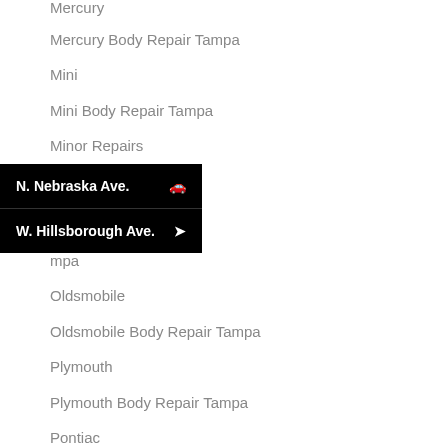Mercury
Mercury Body Repair Tampa
Mini
Mini Body Repair Tampa
Minor Repairs
[Figure (infographic): Black navigation bar popup showing two rows: 'N. Nebraska Ave.' with a car icon, and 'W. Hillsborough Ave.' with a navigation arrow icon]
Oldsmobile
Oldsmobile Body Repair Tampa
Plymouth
Plymouth Body Repair Tampa
Pontiac
Pontiac Body Repair Tampa
Porsche